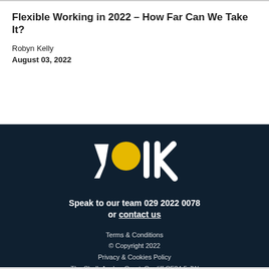Flexible Working in 2022 – How Far Can We Take It?
Robyn Kelly
August 03, 2022
[Figure (logo): Yolk recruitment company logo — white text 'yolk' with a yellow circle replacing the letter 'o', on a dark navy background]
Speak to our team 029 2022 0078 or contact us
Terms & Conditions
© Copyright 2022
Privacy & Cookies Policy
The Shell, Anchor Court, Cardiff CF24 5 JW
Cookie policy More
Accept